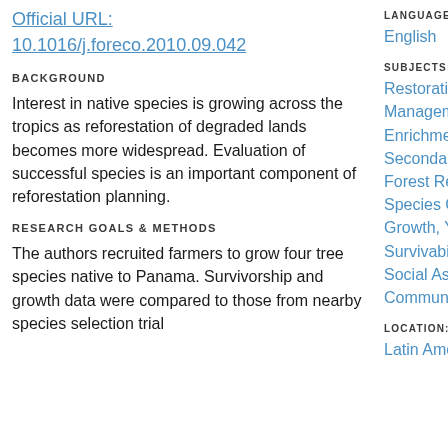Official URL: 10.1016/j.foreco.2010.09.042
BACKGROUND
Interest in native species is growing across the tropics as reforestation of degraded lands becomes more widespread. Evaluation of successful species is an important component of reforestation planning.
RESEARCH GOALS & METHODS
The authors recruited farmers to grow four tree species native to Panama. Survivorship and growth data were compared to those from nearby species selection trial
LANGUAGE:
English
SUBJECTS:
Restoration and Management Strategies
Enrichment Planting
Secondary & Degraded Forest Restoration
Species Characteristics
Growth, Yield and Survivability
Social Aspects
Community Forestry
LOCATION:
Latin America